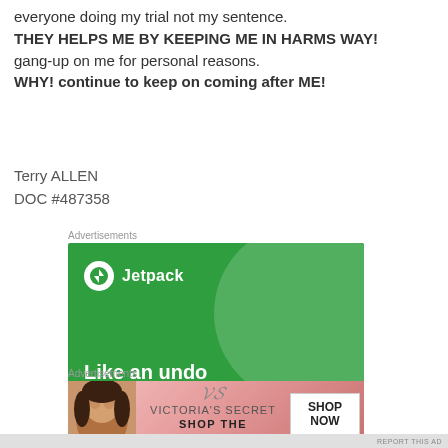everyone doing my trial not my sentence.
THEY HELPS ME BY KEEPING ME IN HARMS WAY!
gang-up on me for personal reasons.
WHY! continue to keep on coming after ME!
Terry ALLEN
DOC #487358
Advertisements
[Figure (other): Jetpack advertisement: green background with circle graphic, Jetpack logo, and text 'Like an undo button for your WordPress site']
Advertisements
[Figure (other): Victoria's Secret advertisement: pink gradient background with model photo, VS logo, 'SHOP THE COLLECTION' text, and 'SHOP NOW' button]